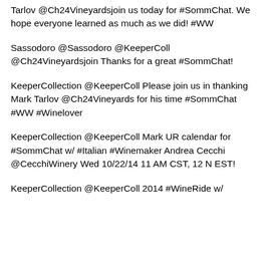Tarlov @Ch24Vineyardsjoin us today for #SommChat. We hope everyone learned as much as we did! #WW
Sassodoro @Sassodoro @KeeperColl @Ch24Vineyardsjoin Thanks for a great #SommChat!
KeeperCollection @KeeperColl Please join us in thanking Mark Tarlov @Ch24Vineyards for his time #SommChat #WW #Winelover
KeeperCollection @KeeperColl Mark UR calendar for #SommChat w/ #Italian #Winemaker Andrea Cecchi @CecchiWinery Wed 10/22/14 11 AM CST, 12 N EST!
KeeperCollection @KeeperColl 2014 #WineRide w/